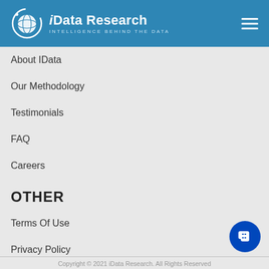iData Research — INTELLIGENCE BEHIND THE DATA
About IData
Our Methodology
Testimonials
FAQ
Careers
OTHER
Terms Of Use
Privacy Policy
Sitemap
Copyright © 2021 iData Research. All Rights Reserved